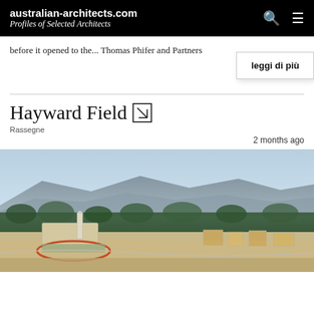australian-architects.com Profiles of Selected Architects
before it opened to the... Thomas Phifer and Partners
leggi di più
Hayward Field ↘
Rassegne
2 months ago
[Figure (photo): Aerial photograph of Hayward Field stadium and surrounding urban area with mountains in background, taken at dusk/golden hour]